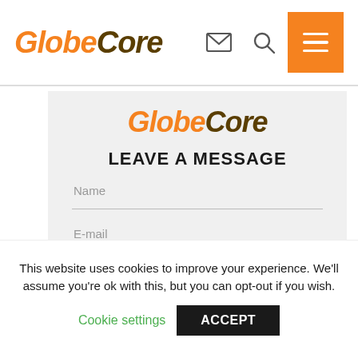GlobeCore
GlobeCore
LEAVE A MESSAGE
Name
E-mail
Phone  039 123 4567
This website uses cookies to improve your experience. We'll assume you're ok with this, but you can opt-out if you wish.
Cookie settings
ACCEPT